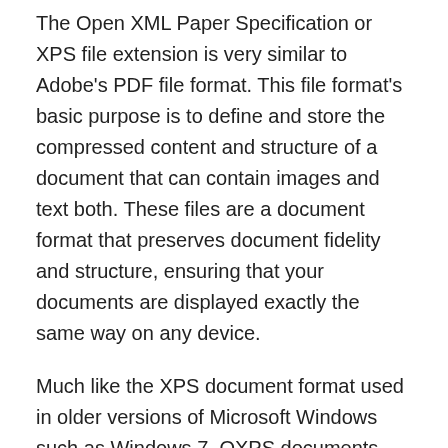The Open XML Paper Specification or XPS file extension is very similar to Adobe's PDF file format. This file format's basic purpose is to define and store the compressed content and structure of a document that can contain images and text both. These files are a document format that preserves document fidelity and structure, ensuring that your documents are displayed exactly the same way on any device.
Much like the XPS document format used in older versions of Microsoft Windows such as Windows 7, OXPS documents are compressed and can only be opened by a reader made specifically for this file format. These files contain XML markup that tells the relevant readers or file viewers what the document looks like, and what content it has. It embeds fonts, images, graphics, as well as digital signatures into the document itself. This makes the OXPS file extension an excellent